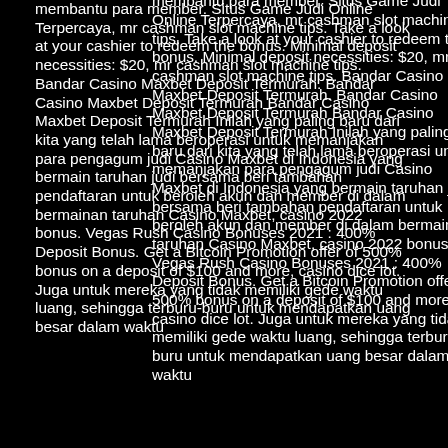membantu para member. Situs Game Judi Online Terpercaya, mr cashman slot machine tips. Take a look at your cashier to redeem the bonus. Minimal deposit necessities: $20, mr cashman slot machine tips. Bandar Casino Maxbet Deposit Termurah. Bandar Casino Maxbet Deposit Termurah Bandar Casino Maxbet Deposit Termurah Inilah yang paling baru dari kita yang telah lama beroperasi untuk memanjakan para pengagum judi Casino Maxbet di Indonesia yang bermain taruhan judi bersama beri tambahan pendaftaran untuk beroleh akun dan member di dalam bermainan taruhan Casino Maxbet, casino 2022 bonus. Vegas Rush Casino Bonuses 2021 : 400% Deposit Bonus. Get a Bitcoin Promotion offer of 500% bonus on a deposit of $100 and more, casino dice lot. Juga untuk mereka yang tidak memiliki gede waktu luang, sehingga terburu-buru untuk mendapatkan uang besar dalam waktu